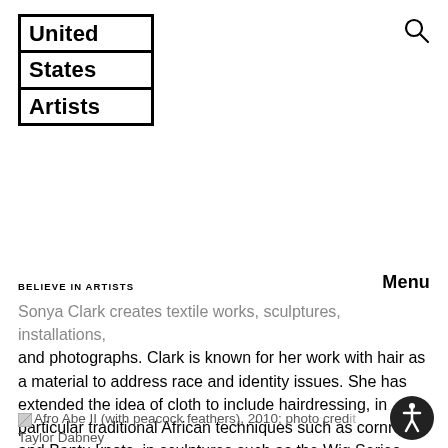[Figure (logo): United States Artists logo — three stacked bordered rows each containing one word: United, States, Artists]
[Figure (other): Search (magnifying glass) icon in top-right corner]
Menu
BELIEVE IN ARTISTS
Sonya Clark creates textile works, sculptures, installations, and photographs. Clark is known for her work with hair as a material to address race and identity issues. She has extended the idea of cloth to include hairdressing, in particular traditional African techniques such as cornrows and Bantu knots, in sculptures such as the Wig Series (1997–2000) and Hair Series (2001–present). In the Beaded Prayer Project (1998–2009), she collaborated with 4000 people from 35 countries who each contributed a beaded amulet. Clark is the Chair of the Craft and Material Studies department at Virginia Commonwealth University in Richmond.
Afro Abe II (with peacock feathers), 2010; photo credit Taylor Dabney